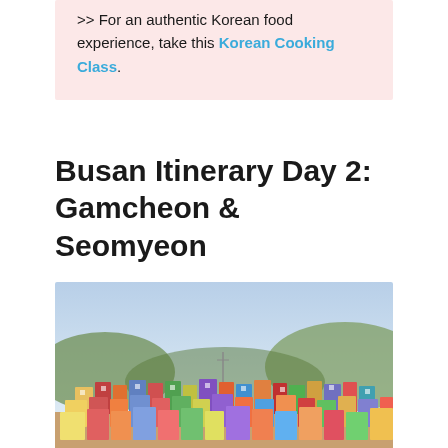>> For an authentic Korean food experience, take this Korean Cooking Class.
Busan Itinerary Day 2: Gamcheon & Seomyeon
[Figure (photo): Aerial view of Gamcheon Culture Village in Busan, South Korea, showing colorful densely packed houses on a hillside with a light blue sky.]